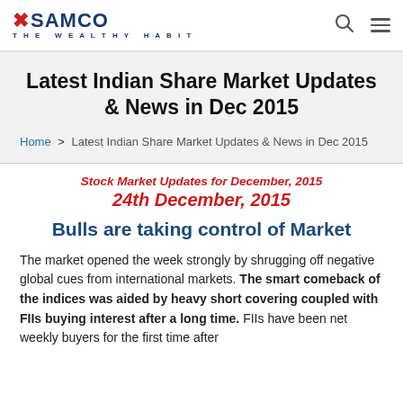SAMCO - THE WEALTHY HABIT
Latest Indian Share Market Updates & News in Dec 2015
Home > Latest Indian Share Market Updates & News in Dec 2015
Stock Market Updates for December, 2015
24th December, 2015
Bulls are taking control of Market
The market opened the week strongly by shrugging off negative global cues from international markets. The smart comeback of the indices was aided by heavy short covering coupled with FIIs buying interest after a long time. FIIs have been net weekly buyers for the first time after